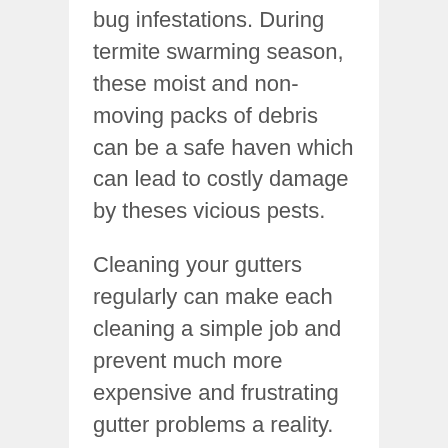bug infestations. During termite swarming season, these moist and non-moving packs of debris can be a safe haven which can lead to costly damage by theses vicious pests.
Cleaning your gutters regularly can make each cleaning a simple job and prevent much more expensive and frustrating gutter problems a reality.
Many people will agree that gutter cleaning is imperative and should be part of scheduled home maintenance, but they may not know when their gutters truly need to be cleaned.